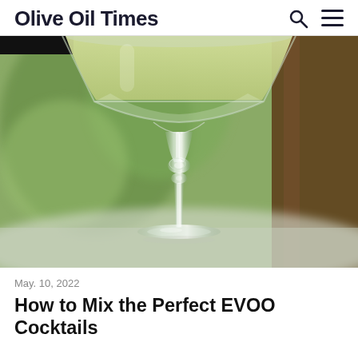Olive Oil Times
[Figure (photo): Close-up photograph of a crystal coupe cocktail glass with a pale yellow-green drink, set against a blurred background of greenery and wooden elements. The stem and base of the glass are in sharp focus.]
May. 10, 2022
How to Mix the Perfect EVOO Cocktails